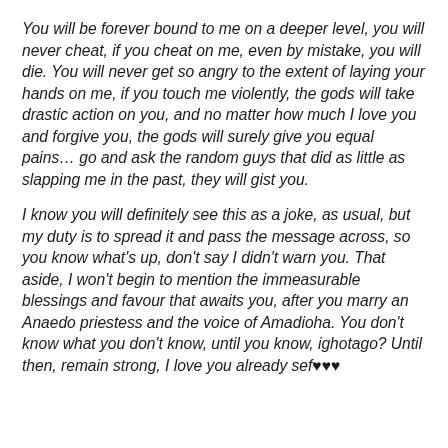You will be forever bound to me on a deeper level, you will never cheat, if you cheat on me, even by mistake, you will die. You will never get so angry to the extent of laying your hands on me, if you touch me violently, the gods will take drastic action on you, and no matter how much I love you and forgive you, the gods will surely give you equal pains… go and ask the random guys that did as little as slapping me in the past, they will gist you.
I know you will definitely see this as a joke, as usual, but my duty is to spread it and pass the message across, so you know what's up, don't say I didn't warn you. That aside, I won't begin to mention the immeasurable blessings and favour that awaits you, after you marry an Anaedo priestess and the voice of Amadioha. You don't know what you don't know, until you know, ighotago? Until then, remain strong, I love you already sef♥♥♥